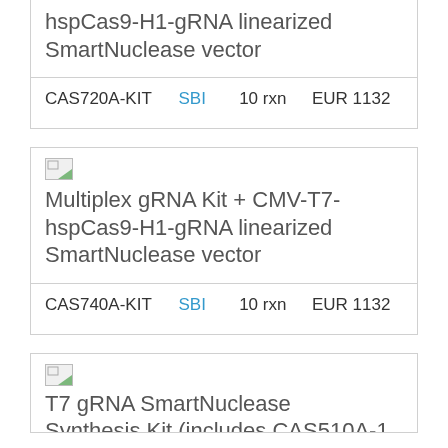| Cat# | Supplier | Qty | Price |
| --- | --- | --- | --- |
| hspCas9-H1-gRNA linearized SmartNuclease vector |  |  |  |
| CAS720A-KIT | SBI | 10 rxn | EUR 1132 |
[Figure (photo): Broken image placeholder icon]
| Cat# | Supplier | Qty | Price |
| --- | --- | --- | --- |
| Multiplex gRNA Kit + CMV-T7-hspCas9-H1-gRNA linearized SmartNuclease vector |  |  |  |
| CAS740A-KIT | SBI | 10 rxn | EUR 1132 |
[Figure (photo): Broken image placeholder icon]
T7 gRNA SmartNuclease Synthesis Kit (includes CAS510A-1...